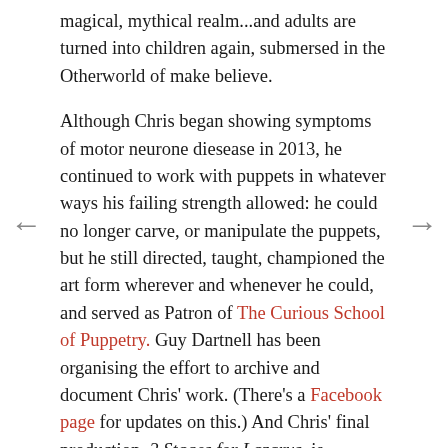magical, mythical realm...and adults are turned into children again, submersed in the Otherworld of make believe.
Although Chris began showing symptoms of motor neurone diesease in 2013, he continued to work with puppets in whatever ways his failing strength allowed: he could no longer carve, or manipulate the puppets, but he still directed, taught, championed the art form wherever and whenever he could, and served as Patron of The Curious School of Puppetry. Guy Dartnell has been organising the effort to archive and document Chris' work. (There's a Facebook page for updates on this.) And Chris' final production, 3 Stages for Lazarus, is scheduled to debut at the Suspense Festival at the Little Angel next week.